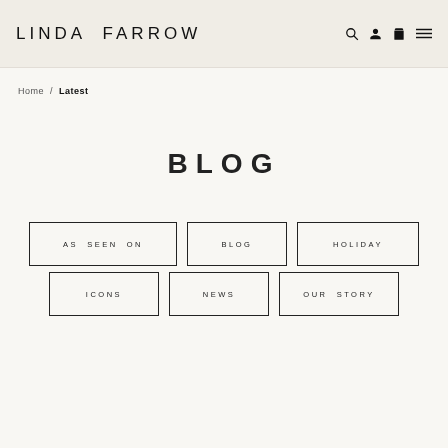LINDA FARROW
Home / Latest
BLOG
AS SEEN ON
BLOG
HOLIDAY
ICONS
NEWS
OUR STORY